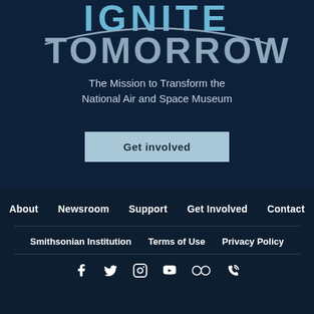IGNITE TOMORROW
The Mission to Transform the National Air and Space Museum
Get involved
About  Newsroom  Support  Get Involved  Contact
Smithsonian Institution  Terms of Use  Privacy Policy
[Figure (other): Social media icons: Facebook, Twitter, Instagram, YouTube, Flickr, RSS]